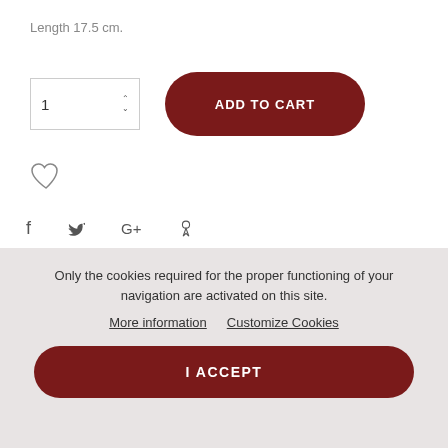Length 17.5 cm.
1 (quantity input with up/down arrows)
ADD TO CART
[Figure (illustration): Heart/wishlist outline icon]
[Figure (illustration): Social share icons: f (Facebook), bird (Twitter), G+ (Google Plus), pin (Pinterest)]
You might also like
Only the cookies required for the proper functioning of your navigation are activated on this site.
More information   Customize Cookies
I ACCEPT